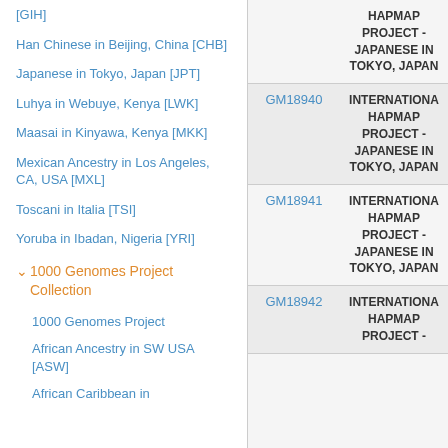[GIH]
Han Chinese in Beijing, China [CHB]
Japanese in Tokyo, Japan [JPT]
Luhya in Webuye, Kenya [LWK]
Maasai in Kinyawa, Kenya [MKK]
Mexican Ancestry in Los Angeles, CA, USA [MXL]
Toscani in Italia [TSI]
Yoruba in Ibadan, Nigeria [YRI]
1000 Genomes Project Collection
1000 Genomes Project
African Ancestry in SW USA [ASW]
African Caribbean in
|  | Source |
| --- | --- |
|  | HAPMAP PROJECT - JAPANESE IN TOKYO, JAPAN |
| GM18940 | INTERNATIONAL HAPMAP PROJECT - JAPANESE IN TOKYO, JAPAN |
| GM18941 | INTERNATIONAL HAPMAP PROJECT - JAPANESE IN TOKYO, JAPAN |
| GM18942 | INTERNATIONAL HAPMAP PROJECT - |